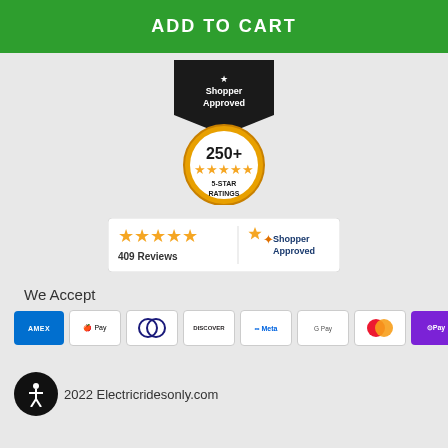ADD TO CART
[Figure (logo): Shopper Approved badge with gold circle showing 250+ 5-STAR RATINGS and star rating]
[Figure (logo): Shopper Approved review bar: 5 orange stars, 409 Reviews, Shopper Approved logo]
We Accept
[Figure (infographic): Payment method icons: AMEX, Apple Pay, Diners Club, Discover, Meta, Google Pay, Mastercard, OPay, VISA]
2022 Electricridesonly.com